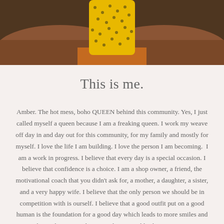[Figure (photo): Person wearing yellow floral dress seated on brown leather bench/chair, photo cropped at torso level]
This is me.
Amber. The hot mess, boho QUEEN behind this community. Yes, I just called myself a queen because I am a freaking queen. I work my weave off day in and day out for this community, for my family and mostly for myself. I love the life I am building. I love the person I am becoming.  I am a work in progress. I believe that every day is a special occasion. I believe that confidence is a choice. I am a shop owner, a friend, the motivational coach that you didn't ask for, a mother, a daughter, a sister, and a very happy wife. I believe that the only person we should be in competition with is ourself. I believe that a good outfit put on a good human is the foundation for a good day which leads to more smiles and more happy humans and in turn a better world. There is room at my table for everyone. I hope you will choose to